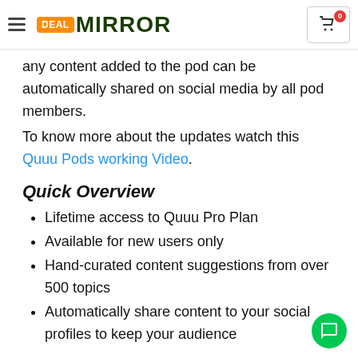DEAL MIRROR
any content added to the pod can be automatically shared on social media by all pod members.
To know more about the updates watch this Quuu Pods working Video.
Quick Overview
Lifetime access to Quuu Pro Plan
Available for new users only
Hand-curated content suggestions from over 500 topics
Automatically share content to your social profiles to keep your audience